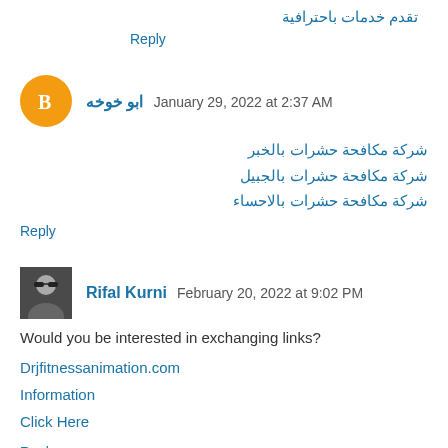تقدم خدمات باحترافية
Reply
ابو خوخه  January 29, 2022 at 2:37 AM
شركة مكافحة حشرات بالخبر
شركة مكافحة حشرات بالجبيل
شركة مكافحة حشرات بالاحساء
Reply
Rifal Kurni  February 20, 2022 at 9:02 PM
Would you be interested in exchanging links?
Drjfitnessanimation.com
Information
Click Here
Reply